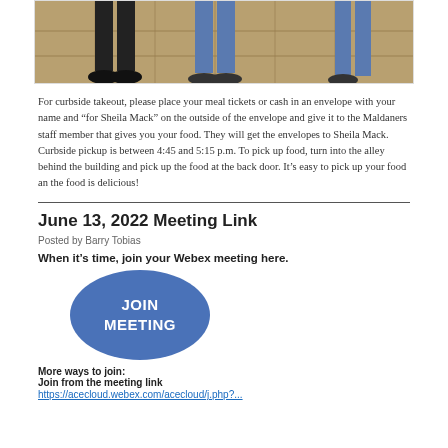[Figure (photo): Partial photo showing legs and feet of people standing on a tiled/paved surface, cropped at the top of the page.]
For curbside takeout, please place your meal tickets or cash in an envelope with your name and “for Sheila Mack” on the outside of the envelope and give it to the Maldaners staff member that gives you your food. They will get the envelopes to Sheila Mack. Curbside pickup is between 4:45 and 5:15 p.m. To pick up food, turn into the alley behind the building and pick up the food at the back door. It’s easy to pick up your food an the food is delicious!
June 13, 2022 Meeting Link
Posted by Barry Tobias
When it’s time, join your Webex meeting here.
[Figure (illustration): Blue oval button with white bold text reading JOIN MEETING]
More ways to join:
Join from the meeting link
https://acecloud.webex.com/acecloud/j.php?...